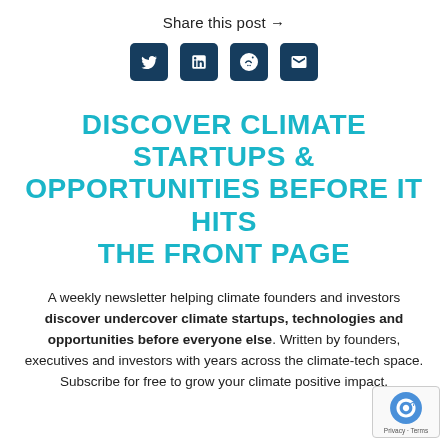Share this post →
[Figure (infographic): Four social media share icon buttons (Twitter, LinkedIn, Reddit, Email) with dark navy background]
DISCOVER CLIMATE STARTUPS & OPPORTUNITIES BEFORE IT HITS THE FRONT PAGE
A weekly newsletter helping climate founders and investors discover undercover climate startups, technologies and opportunities before everyone else. Written by founders, executives and investors with years across the climate-tech space. Subscribe for free to grow your climate positive impact.